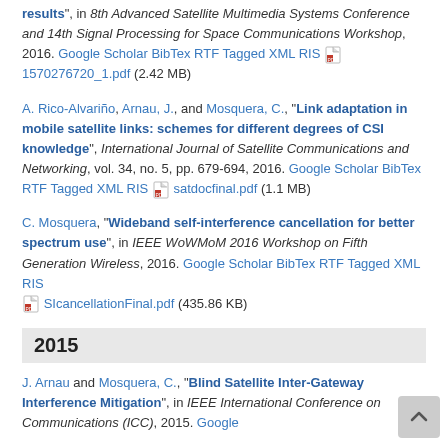results", in 8th Advanced Satellite Multimedia Systems Conference and 14th Signal Processing for Space Communications Workshop, 2016. Google Scholar BibTex RTF Tagged XML RIS [pdf] 1570276720_1.pdf (2.42 MB)
A. Rico-Alvariño, Arnau, J., and Mosquera, C., "Link adaptation in mobile satellite links: schemes for different degrees of CSI knowledge", International Journal of Satellite Communications and Networking, vol. 34, no. 5, pp. 679-694, 2016. Google Scholar BibTex RTF Tagged XML RIS [pdf] satdocfinal.pdf (1.1 MB)
C. Mosquera, "Wideband self-interference cancellation for better spectrum use", in IEEE WoWMoM 2016 Workshop on Fifth Generation Wireless, 2016. Google Scholar BibTex RTF Tagged XML RIS [pdf] SIcancellationFinal.pdf (435.86 KB)
2015
J. Arnau and Mosquera, C., "Blind Satellite Inter-Gateway Interference Mitigation", in IEEE International Conference on Communications (ICC), 2015. Google